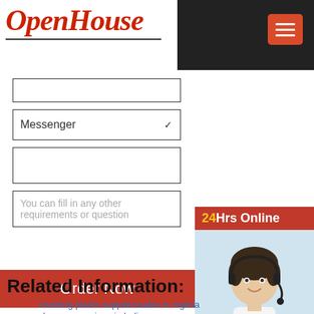[Figure (logo): OpenHouse logo in red italic script with underline]
[Figure (screenshot): Dark navigation bar with hamburger menu icon on the right]
[Figure (screenshot): Form with Messenger dropdown, empty input field, placeholder textarea, and Order Now button]
[Figure (photo): 24Hrs Online sidebar with customer service woman wearing headset, Need questions & suggestion? label, Chat Now button, Enquiry, and mumumugoods sections]
Related Information:
crushing plants supplierssales in nigeria
chrome ore mines in India